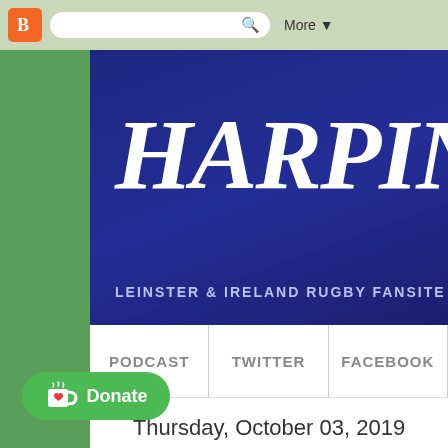[Figure (screenshot): Browser toolbar with Blogger orange icon, search bar with magnifying glass, and More dropdown button on green background]
HARPIN' ON
LEINSTER & IRELAND RUGBY FANSITE
PODCAST
TWITTER
FACEBOOK
Thursday, October 03, 2019
Front Five - 03.10.19
[Figure (logo): Ko-fi Donate button - green pill-shaped button with heart cup icon and Donate text]